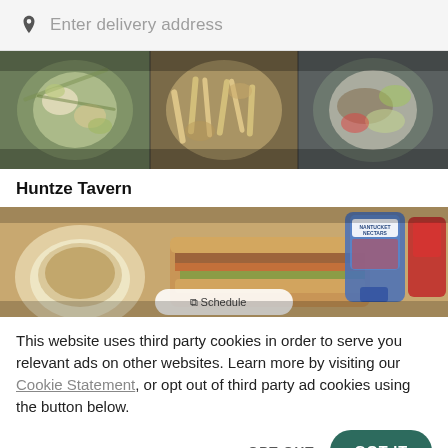Enter delivery address
[Figure (photo): Top banner showing three food dishes: a salad/pasta dish, a plate of fries/pasta, and a fish/vegetable plate]
Huntze Tavern
[Figure (photo): Bottom banner showing a deli/sandwich spread with soup bowl, sandwich, and Nantucket Nectars bottle]
This website uses third party cookies in order to serve you relevant ads on other websites. Learn more by visiting our Cookie Statement, or opt out of third party ad cookies using the button below.
OPT OUT
GOT IT